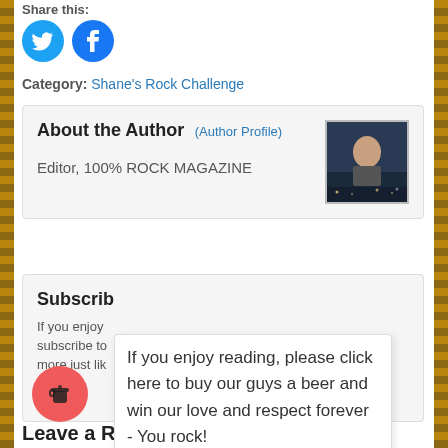Share this:
[Figure (illustration): Twitter and Facebook social sharing icons (circular blue buttons)]
Category: Shane's Rock Challenge
About the Author (Author Profile)
Editor, 100% ROCK MAGAZINE
[Figure (photo): Author profile photo - person standing outdoors at night]
Subscribe
If you enjoy reading, please subscribe to more just like
If you enjoy reading, please click here to buy our guys a beer and win our love and respect forever - You rock!
Leave a Reply